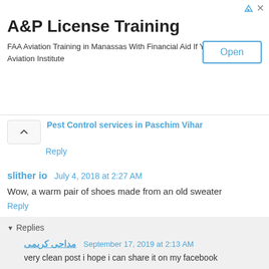[Figure (other): Advertisement banner for A&P License Training]
Pest Control services in Paschim Vihar
Reply
slither io  July 4, 2018 at 2:27 AM
Wow, a warm pair of shoes made from an old sweater
Reply
Replies
مداحی کریمی  September 17, 2019 at 2:13 AM
very clean post i hope i can share it on my facebook
مداحی کریمی
اهنگ گل عشق
مداحی ترکی